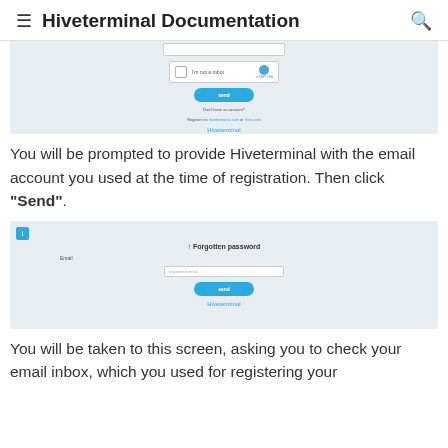Hiveterminal Documentation
[Figure (screenshot): Screenshot of a login/registration form showing a CAPTCHA checkbox, a blue Send button, small text links, and a blue link at the bottom on a light grey background.]
You will be prompted to provide Hiveterminal with the email account you used at the time of registration. Then click "Send".
[Figure (screenshot): Screenshot of a Forgotten password form with an Email input field, a blue Send button, and a blue Hiveterminal link at the bottom on a light grey background.]
You will be taken to this screen, asking you to check your email inbox, which you used for registering your